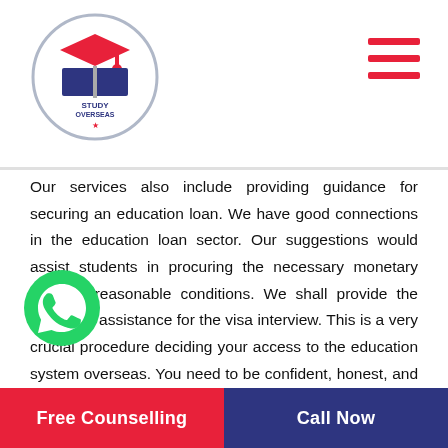[Figure (logo): Study Overseas circular logo with graduation cap and book]
[Figure (other): Hamburger menu icon with three red horizontal lines]
Our services also include providing guidance for securing an education loan. We have good connections in the education loan sector. Our suggestions would assist students in procuring the necessary monetary help on reasonable conditions. We shall provide the grooming assistance for the visa interview. This is a very crucial procedure deciding your access to the education system overseas. You need to be confident, honest, and brilliant in the interview. Our counsellors shall conduct mock interviews until you are fully confident. We shall ensure you to achieve your dream of pursuing the best courses overseas. We shall assist in selecting the most appropriate course between different similar options. If you want to find the best courses in your subject in different countries, consult our site for the latest information. When you contact us via phone or emails, we
[Figure (logo): WhatsApp green phone icon button]
Free Counselling    Call Now